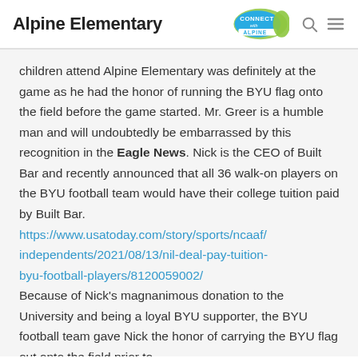Alpine Elementary
children attend Alpine Elementary was definitely at the game as he had the honor of running the BYU flag onto the field before the game started. Mr. Greer is a humble man and will undoubtedly be embarrassed by this recognition in the Eagle News. Nick is the CEO of Built Bar and recently announced that all 36 walk-on players on the BYU football team would have their college tuition paid by Built Bar. https://www.usatoday.com/story/sports/ncaaf/independents/2021/08/13/nil-deal-pay-tuition-byu-football-players/8120059002/ Because of Nick's magnanimous donation to the University and being a loyal BYU supporter, the BYU football team gave Nick the honor of carrying the BYU flag out onto the field prior to